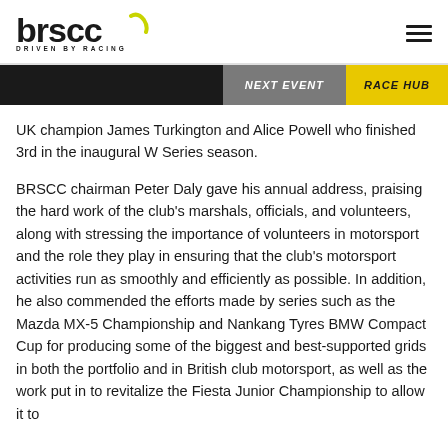[Figure (logo): BRSCC logo with yellow accent mark and tagline DRIVEN BY RACING]
NEXT EVENT | RACE HUB
UK champion James Turkington and Alice Powell who finished 3rd in the inaugural W Series season.
BRSCC chairman Peter Daly gave his annual address, praising the hard work of the club's marshals, officials, and volunteers, along with stressing the importance of volunteers in motorsport and the role they play in ensuring that the club's motorsport activities run as smoothly and efficiently as possible. In addition, he also commended the efforts made by series such as the Mazda MX-5 Championship and Nankang Tyres BMW Compact Cup for producing some of the biggest and best-supported grids in both the portfolio and in British club motorsport, as well as the work put in to revitalize the Fiesta Junior Championship to allow it to